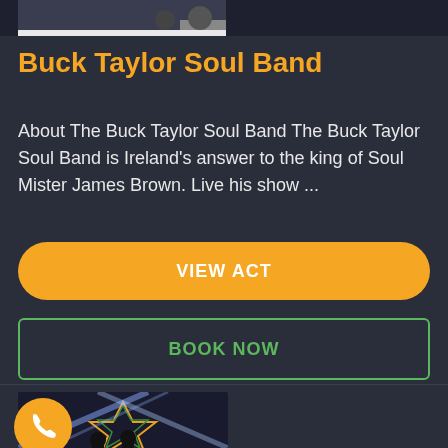[Figure (photo): Top partial image of performers on stage, dark background, shown as a cropped strip at the top of the page]
Buck Taylor Soul Band
About The Buck Taylor Soul Band The Buck Taylor Soul Band is Ireland's answer to the king of Soul Mister James Brown. Live his show ...
VIEW ACT
BOOK NOW
[Figure (photo): Concert photo showing performers on a stage with colorful star-shaped backdrop and dramatic crossing stage lights, with an orange phone button overlay in lower left]